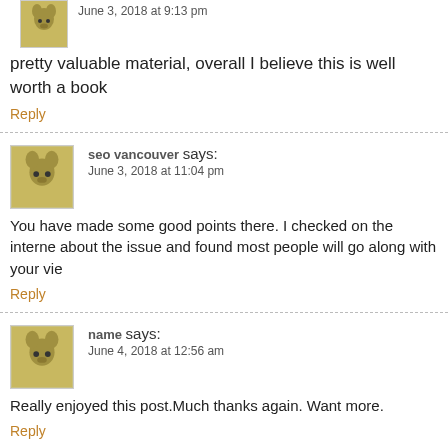June 3, 2018 at 9:13 pm
pretty valuable material, overall I believe this is well worth a book
Reply
seo vancouver says:
June 3, 2018 at 11:04 pm
You have made some good points there. I checked on the internet about the issue and found most people will go along with your vie
Reply
name says:
June 4, 2018 at 12:56 am
Really enjoyed this post.Much thanks again. Want more.
Reply
seo vancouver says:
June 4, 2018 at 2:48 am
Would you be eager about exchanging hyperlinks?
Reply